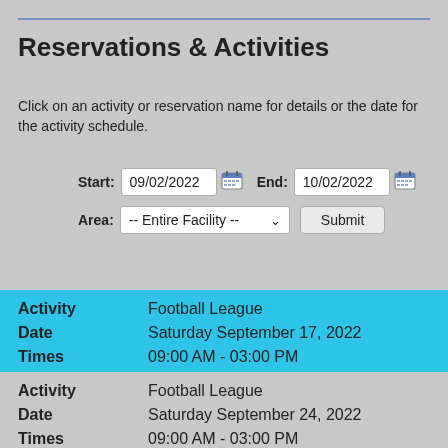Reservations & Activities
Click on an activity or reservation name for details or the date for the activity schedule.
| Field | Value |
| --- | --- |
| Start: | 09/02/2022 |
| End: | 10/02/2022 |
| Area: | -- Entire Facility -- |
| Activity | Date | Times |
| --- | --- | --- |
| Football League | Saturday September 17, 2022 | 09:00 AM - 03:00 PM |
| Football League | Saturday September 24, 2022 | 09:00 AM - 03:00 PM |